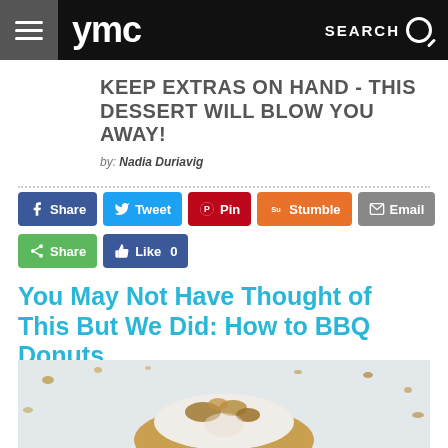ymc  SEARCH
KEEP EXTRAS ON HAND - THIS DESSERT WILL BLOW YOU AWAY!
by: Nadia Duriavig
[Figure (screenshot): Social sharing buttons: Share (Facebook), Tweet, Pin, Stumble, Email, Share (green), Like 0]
You May Not Have Thought of This But We Did: How to BBQ Donuts
[Figure (photo): Close-up photo of a BBQ donut topped with nuts and cream, on a light background with scattered crumbs]